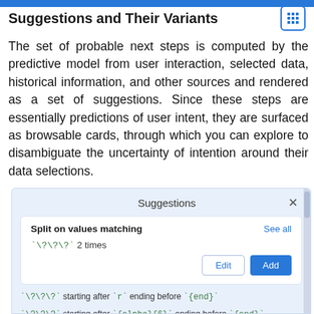Suggestions and Their Variants
The set of probable next steps is computed by the predictive model from user interaction, selected data, historical information, and other sources and rendered as a set of suggestions. Since these steps are essentially predictions of user intent, they are surfaced as browsable cards, through which you can explore to disambiguate the uncertainty of intention around their data selections.
[Figure (screenshot): A UI panel titled 'Suggestions' with an X close button. Inside is a card labeled 'Split on values matching' with a 'See all' link. A suggestion item shows '`\?\?\?` 2 times' with Edit and Add buttons. Below are two more suggestions: '`\?\?\?` starting after `r` ending before `{end}`' and '`\?\?\?` starting after `{alpha}{6}` ending before `{end}`'. A scrollbar is visible on the right.]